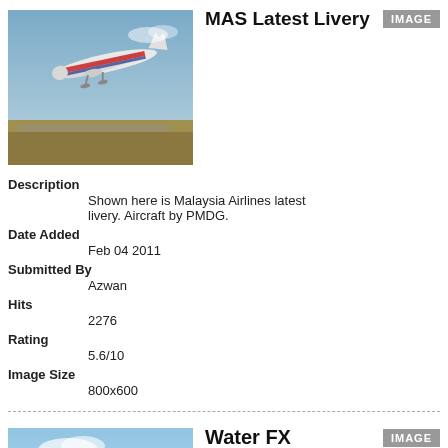[Figure (photo): Malaysia Airlines aircraft (PMDG) taking off, flight simulator screenshot]
MAS Latest Livery
[Figure (other): IMAGE button]
Description
Shown here is Malaysia Airlines latest livery. Aircraft by PMDG.
Date Added
Feb 04 2011
Submitted By
Azwan
Hits
2276
Rating
5.6/10
Image Size
800x600
[Figure (photo): Small Cessna-type aircraft flying over water, flight simulator screenshot]
Water FX
[Figure (other): IMAGE button]